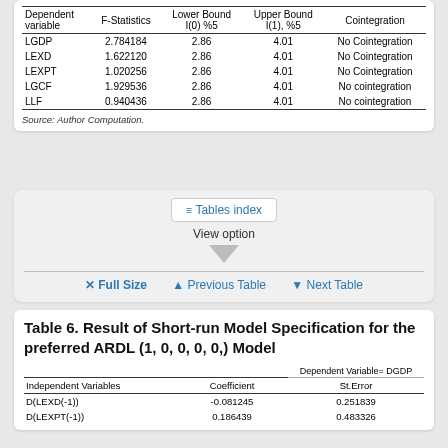| Dependent variable | F-Statistics | Lower Bound I(0) %5 | Upper Bound I(1), %5 | Cointegration |
| --- | --- | --- | --- | --- |
| LGDP | 2.784184 | 2.86 | 4.01 | No Cointegration |
| LEXD | 1.622120 | 2.86 | 4.01 | No Cointegration |
| LEXPT | 1.020256 | 2.86 | 4.01 | No Cointegration |
| LGCF | 1.929536 | 2.86 | 4.01 | No cointegration |
| LLF | 0.940436 | 2.86 | 4.01 | No cointegration |
Source: Author Computation.
Tables index
View option
✕ Full Size  ▲ Previous Table  ▼ Next Table
Table 6. Result of Short-run Model Specification for the preferred ARDL (1, 0, 0, 0, 0,) Model
| Independent Variables | Coefficient | Dependent Variable= DGDP St.Error |
| --- | --- | --- |
| D(LEXD(-1)) | -0.081245 | 0.251839 |
| D(LEXPT(-1)) | 0.186439 | 0.483326 |